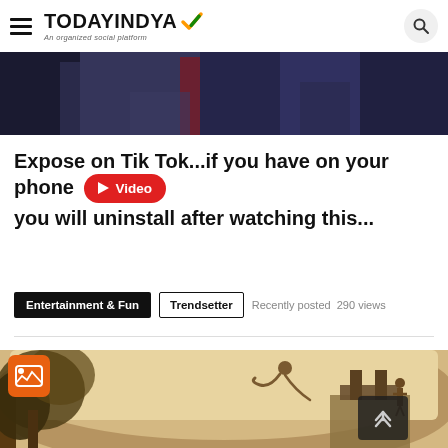TODAYINDYA — An organized social platform
[Figure (photo): Cropped photo showing people in dark suits, partial view of torsos and hands]
Expose on Tik Tok...if you have on your phone you will uninstall after watching this...
Entertainment & Fun   Trendsetter   Recently posted   290 views
[Figure (photo): Vintage sepia-toned photograph showing a person diving/jumping, tree silhouette on the left, person standing on a structure on the right]